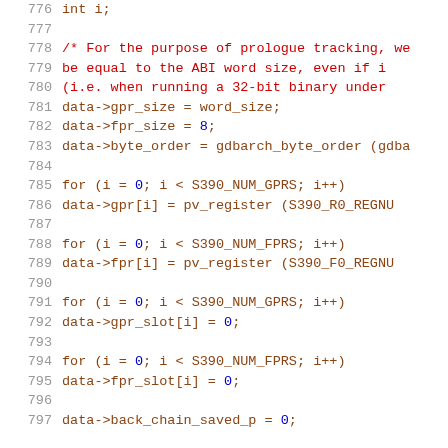Source code listing, lines 776–797, C programming language code for S390 architecture register setup